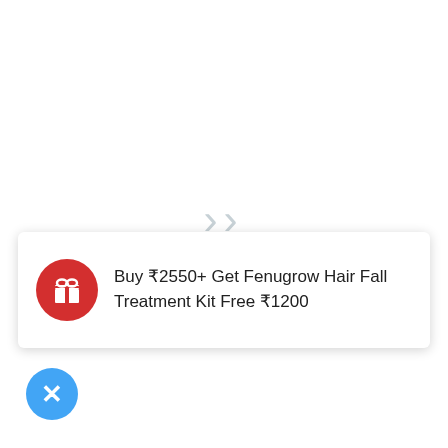[Figure (screenshot): Mobile app loading state with two right-pointing chevron/arrow symbols in light blue-grey color centered on white background, indicating a loading spinner or swipe gesture]
Buy ₹2550+ Get Fenugrow Hair Fall Treatment Kit Free ₹1200
[Figure (illustration): Blue circular close/dismiss button with white X icon at bottom left]